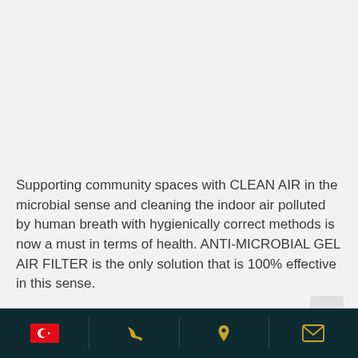Supporting community spaces with CLEAN AIR in the microbial sense and cleaning the indoor air polluted by human breath with hygienically correct methods is now a must in terms of health. ANTI-MICROBIAL GEL AIR FILTER is the only solution that is 100% effective in this sense.
» SHOPPING MALLS
» OFFICES
Turkish flag icon | Phone icon | Location icon | Email icon